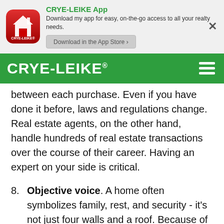[Figure (logo): CRYE-LEIKE app promotional banner with red app icon showing a house, app title in green, description text, and Download in the App Store button]
CRYE-LEIKE® navigation bar with hamburger menu
between each purchase. Even if you have done it before, laws and regulations change. Real estate agents, on the other hand, handle hundreds of real estate transactions over the course of their career. Having an expert on your side is critical.
8. Objective voice. A home often symbolizes family, rest, and security - it's not just four walls and a roof. Because of this, homebuying and selling can be an emotional undertaking. And for most people, a home is the biggest purchase they'll every make. Having a concerned, but objective, third party helps